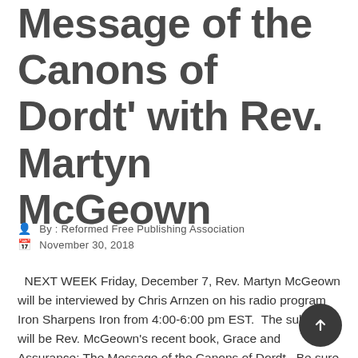Assurance: The Message of the Canons of Dordt' with Rev. Martyn McGeown
By : Reformed Free Publishing Association
November 30, 2018
NEXT WEEK Friday, December 7, Rev. Martyn McGeown will be interviewed by Chris Arnzen on his radio program Iron Sharpens Iron from 4:00-6:00 pm EST.  The subject will be Rev. McGeown's recent book, Grace and Assurance: The Message of the Canons of Dordt.  Be sure to tune in next week Friday!